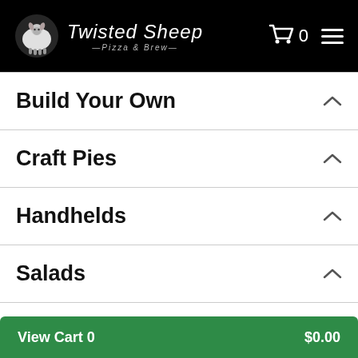[Figure (logo): Twisted Sheep Pizza & Brew logo with sheep icon and cart icon and hamburger menu in black header]
Build Your Own
Craft Pies
Handhelds
Salads
Small Bites
View Cart 0   $0.00